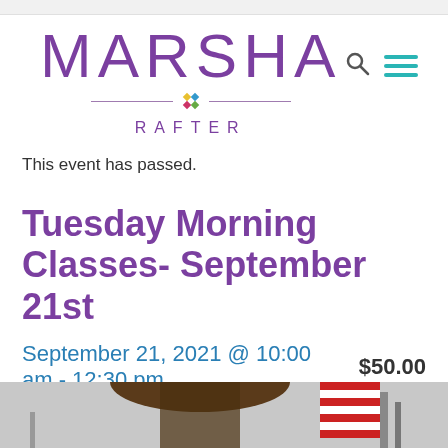[Figure (logo): Marsha Rafter logo with large purple MARSHA text, decorative diamond divider, and RAFTER subtitle in purple]
This event has passed.
Tuesday Morning Classes- September 21st
September 21, 2021 @ 10:00 am - 12:30 pm  $50.00
[Figure (photo): Bottom portion of a photo showing a woman with long hair, an American flag visible in the background, in what appears to be a studio or classroom setting]